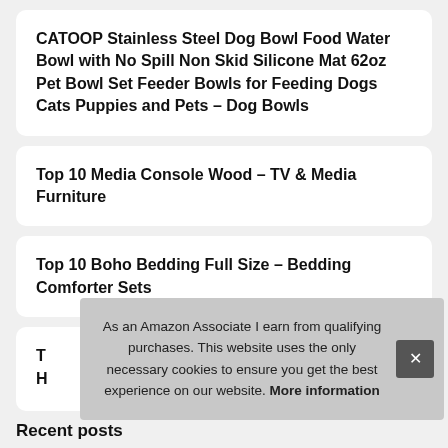CATOOP Stainless Steel Dog Bowl Food Water Bowl with No Spill Non Skid Silicone Mat 62oz Pet Bowl Set Feeder Bowls for Feeding Dogs Cats Puppies and Pets – Dog Bowls
Top 10 Media Console Wood – TV & Media Furniture
Top 10 Boho Bedding Full Size – Bedding Comforter Sets
T... H...
As an Amazon Associate I earn from qualifying purchases. This website uses the only necessary cookies to ensure you get the best experience on our website. More information
Recent posts